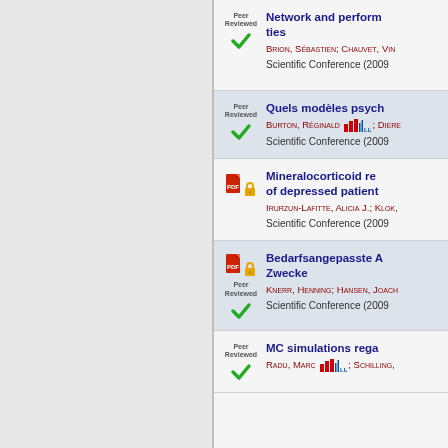Network and perform... ties — BRION, SÉBASTIEN; CHAUVET, VIN... — Scientific Conference (2009)
Quels modèles psych... — BURTON, RÉGINALD; DIERE... — Scientific Conference (2009)
Mineralocorticoid re... of depressed patient... — IRURZUN-LAFITTE, ALICIA J.; KLOK,... — Scientific Conference (2009)
Bedarfsangepasste A... Zwecke — KNERR, HENNING; HANSEN, JOACH... — Scientific Conference (2009)
MC simulations rega... — RADU, MARC; SCHILLING,... — (2009)